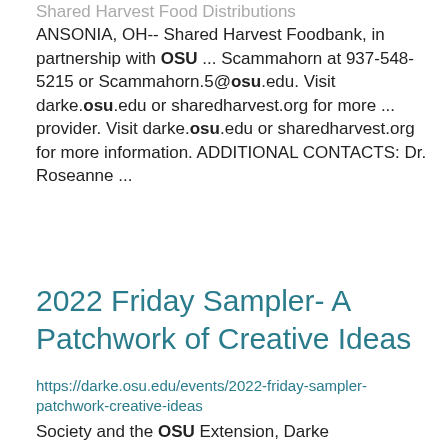Shared Harvest Food Distributions ANSONIA, OH-- Shared Harvest Foodbank, in partnership with OSU ... Scammahorn at 937-548-5215 or Scammahorn.5@osu.edu. Visit darke.osu.edu or sharedharvest.org for more ... provider. Visit darke.osu.edu or sharedharvest.org for more information. ADDITIONAL CONTACTS: Dr. Roseanne ...
2022 Friday Sampler- A Patchwork of Creative Ideas
https://darke.osu.edu/events/2022-friday-sampler-patchwork-creative-ideas
Society and the OSU Extension, Darke